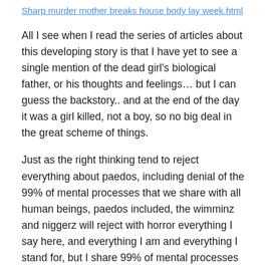Sharp murder mother breaks house body lay week.html
All I see when I read the series of articles about this developing story is that I have yet to see a single mention of the dead girl's biological father, or his thoughts and feelings… but I can guess the backstory.. and at the end of the day it was a girl killed, not a boy, so no big deal in the great scheme of things.
Just as the right thinking tend to reject everything about paedos, including denial of the 99% of mental processes that we share with all human beings, paedos included, the wimminz and niggerz will reject with horror everything I say here, and everything I am and everything I stand for, but I share 99% of mental processes with them.
That 1%, that wasn't where I accepted responsibility for my own actions and deeds, I always did that, the really